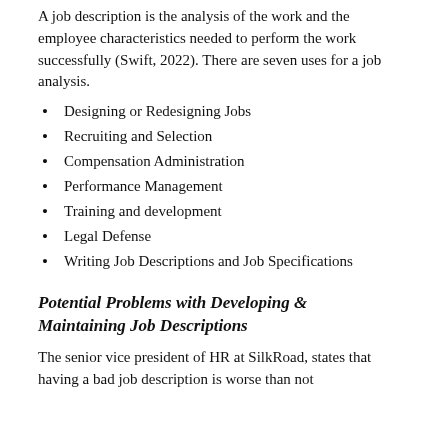A job description is the analysis of the work and the employee characteristics needed to perform the work successfully (Swift, 2022). There are seven uses for a job analysis.
Designing or Redesigning Jobs
Recruiting and Selection
Compensation Administration
Performance Management
Training and development
Legal Defense
Writing Job Descriptions and Job Specifications
Potential Problems with Developing & Maintaining Job Descriptions
The senior vice president of HR at SilkRoad, states that having a bad job description is worse than not